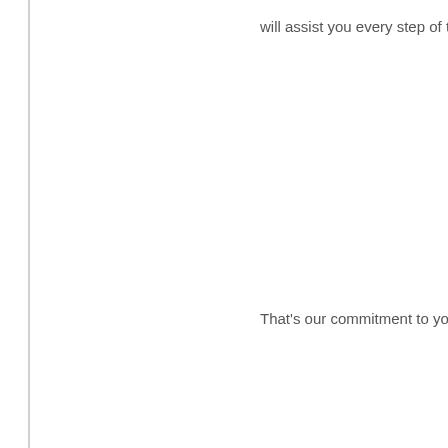will assist you every step of the
That's our commitment to you a